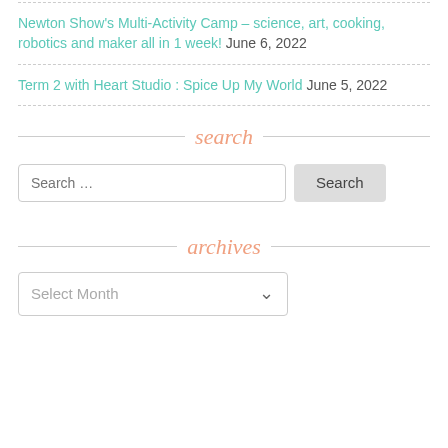Newton Show's Multi-Activity Camp – science, art, cooking, robotics and maker all in 1 week! June 6, 2022
Term 2 with Heart Studio : Spice Up My World June 5, 2022
search
Search …
archives
Select Month